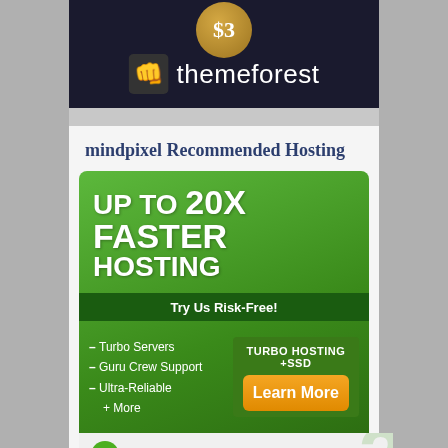[Figure (logo): ThemeForest banner with dark background, gold coin showing '$3', fist icon and 'themeforest' white text]
mindpixel Recommended Hosting
[Figure (infographic): A2 Hosting advertisement banner. Green gradient background. Text: UP TO 20X FASTER HOSTING. Try Us Risk-Free! Features: Turbo Servers, Guru Crew Support, Ultra-Reliable + More. Turbo Hosting +SSD. Learn More button. A2 Hosting logo at bottom.]